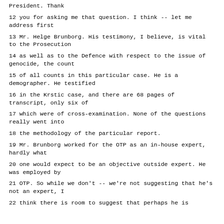President. Thank
12 you for asking me that question. I think -- let me address first
13 Mr. Helge Brunborg. His testimony, I believe, is vital to the Prosecution
14 as well as to the Defence with respect to the issue of genocide, the count
15 of all counts in this particular case. He is a demographer. He testified
16 in the Krstic case, and there are 68 pages of transcript, only six of
17 which were of cross-examination. None of the questions really went into
18 the methodology of the particular report.
19 Mr. Brunborg worked for the OTP as an in-house expert, hardly what
20 one would expect to be an objective outside expert. He was employed by
21 OTP. So while we don't -- we're not suggesting that he's not an expert, I
22 think there is room to suggest that perhaps he is